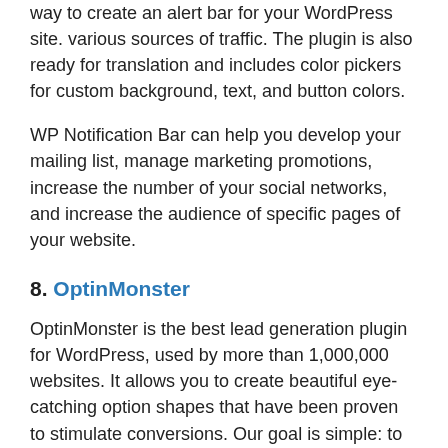way to create an alert bar for your WordPress site. various sources of traffic. The plugin is also ready for translation and includes color pickers for custom background, text, and button colors.
WP Notification Bar can help you develop your mailing list, manage marketing promotions, increase the number of your social networks, and increase the audience of specific pages of your website.
8. OptinMonster
OptinMonster is the best lead generation plugin for WordPress, used by more than 1,000,000 websites. It allows you to create beautiful eye-catching option shapes that have been proven to stimulate conversions. Our goal is simple: to